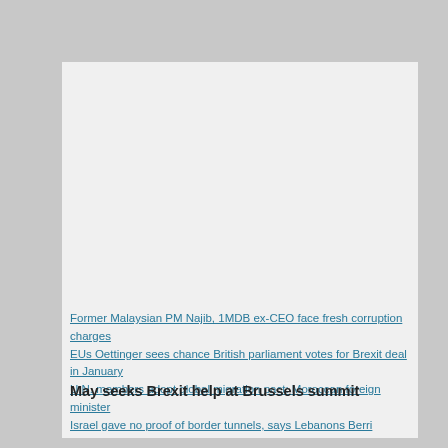Former Malaysian PM Najib, 1MDB ex-CEO face fresh corruption charges
EUs Oettinger sees chance British parliament votes for Brexit deal in January
U.N. members adopt global migration pact: Moroccan foreign minister
Israel gave no proof of border tunnels, says Lebanons Berri
May seeks Brexit help at Brussels summit